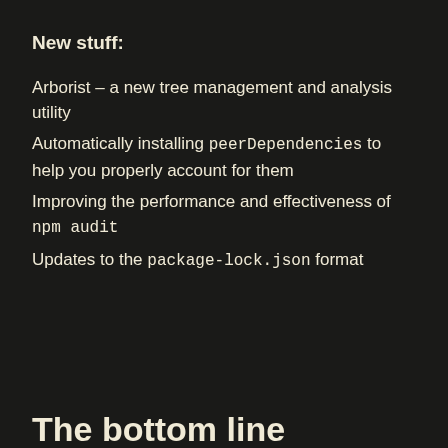New stuff:
Arborist – a new tree management and analysis utility
Automatically installing peerDependencies to help you properly account for them
Improving the performance and effectiveness of npm audit
Updates to the package-lock.json format
The bottom line